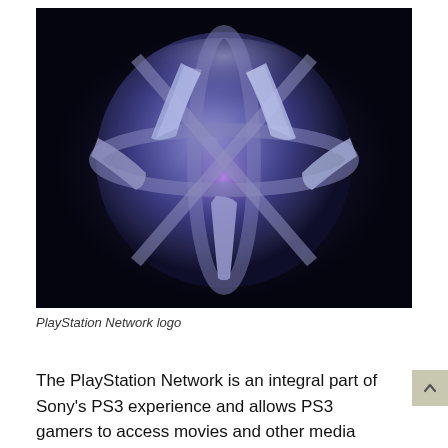[Figure (logo): PlayStation Network logo — a 3D blue-purple metallic sphere with the PSN symbol (stylized shapes forming the PlayStation Network mark) on a dark navy background]
PlayStation Network logo
The PlayStation Network is an integral part of Sony's PS3 experience and allows PS3 gamers to access movies and other media through their consoles, and play games